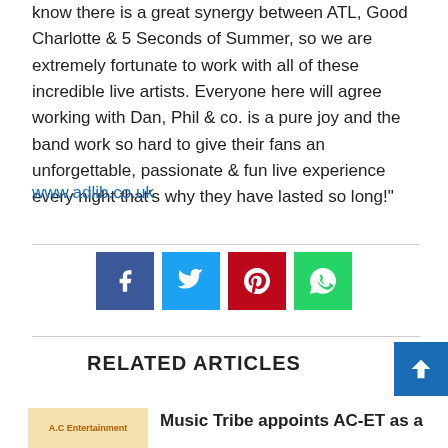know there is a great synergy between ATL, Good Charlotte & 5 Seconds of Summer, so we are extremely fortunate to work with all of these incredible live artists. Everyone here will agree working with Dan, Phil & co. is a pure joy and the band work so hard to give their fans an unforgettable, passionate & fun live experience every night that's why they have lasted so long!"
www.adlib.co.uk
[Figure (other): Social sharing buttons: Facebook (blue), Twitter (cyan), Pinterest (red), WhatsApp (green)]
RELATED ARTICLES
[Figure (logo): A.C Entertainment logo - circular orange logo on light background]
Music Tribe appoints AC-ET as a